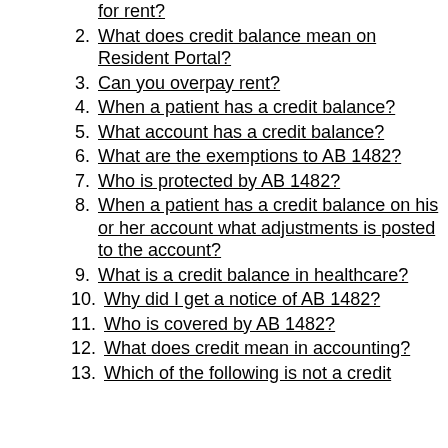for rent?
What does credit balance mean on Resident Portal?
Can you overpay rent?
When a patient has a credit balance?
What account has a credit balance?
What are the exemptions to AB 1482?
Who is protected by AB 1482?
When a patient has a credit balance on his or her account what adjustments is posted to the account?
What is a credit balance in healthcare?
Why did I get a notice of AB 1482?
Who is covered by AB 1482?
What does credit mean in accounting?
Which of the following is not a credit